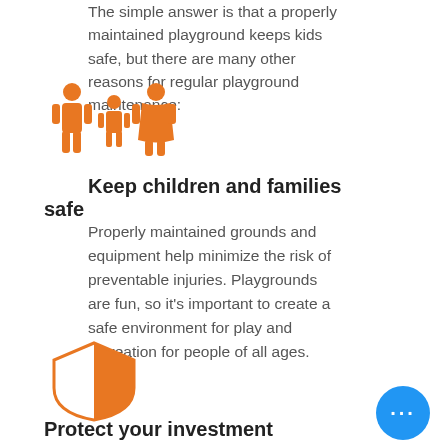The simple answer is that a properly maintained playground keeps kids safe, but there are many other reasons for regular playground maintenance:
[Figure (illustration): Orange icon of a family: adult male figure, child figure, adult female figure in orange silhouette style]
Keep children and families safe
Properly maintained grounds and equipment help minimize the risk of preventable injuries. Playgrounds are fun, so it’s important to create a safe environment for play and recreation for people of all ages.
[Figure (illustration): Orange shield icon, split half white half orange]
Protect your investment